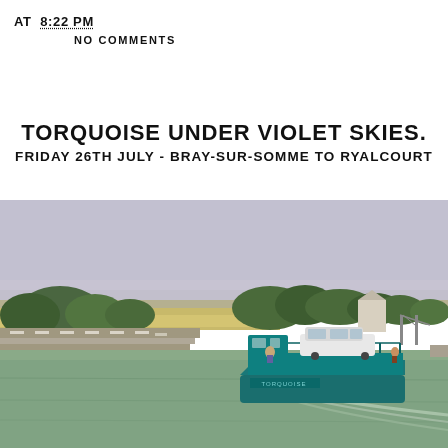AT 8:22 PM
NO COMMENTS
TORQUOISE UNDER VIOLET SKIES.
FRIDAY 26TH JULY - BRAY-SUR-SOMME TO RYALCOURT
[Figure (photo): A teal/turquoise car ferry barge on a canal, carrying a white SUV, surrounded by flat agricultural landscape with trees in the background, taken on a hazy sunny day.]